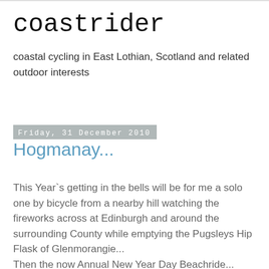coastrider
coastal cycling in East Lothian, Scotland and related outdoor interests
Friday, 31 December 2010
Hogmanay...
This Year`s getting in the bells will be for me a solo one by bicycle from a nearby hill watching the fireworks across at Edinburgh and around the surrounding County while emptying the Pugsleys Hip Flask of Glenmorangie...
Then the now Annual New Year Day Beachride...
Maybe see you on the Coast next year...all the best for 2011